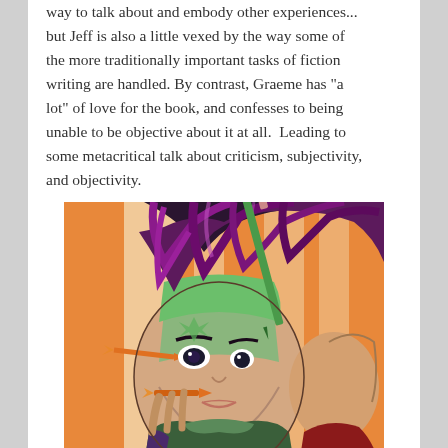way to talk about and embody other experiences... but Jeff is also a little vexed by the way some of the more traditionally important tasks of fiction writing are handled. By contrast, Graeme has "a lot" of love for the book, and confesses to being unable to be objective about it at all.  Leading to some metacritical talk about criticism, subjectivity, and objectivity.
[Figure (illustration): Colorful comic book style illustration showing a close-up of an anime/manga character with wild dark red/purple hair, green face markings, wearing a green and purple costume. The character has a pencil or spike through their hair and appears intense. An orange arrow-like object is near their face. A second character is partially visible behind them. Orange and cream background.]